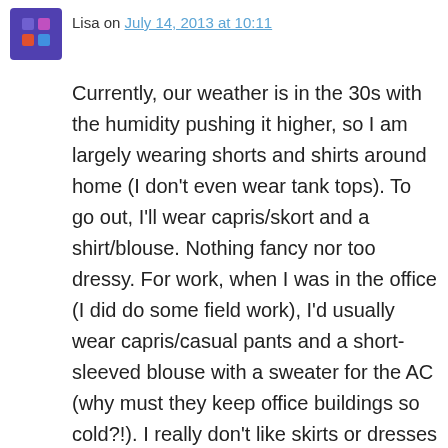Lisa on July 14, 2013 at 10:11
Currently, our weather is in the 30s with the humidity pushing it higher, so I am largely wearing shorts and shirts around home (I don't even wear tank tops). To go out, I'll wear capris/skort and a shirt/blouse. Nothing fancy nor too dressy. For work, when I was in the office (I did do some field work), I'd usually wear capris/casual pants and a short-sleeved blouse with a sweater for the AC (why must they keep office buildings so cold?!). I really don't like skirts or dresses either. They feel too feminine and high maintenance – like I would then need the shoes and cute accessories to go with them. I do see some smartly dressed women around, but I start to add up the cost and time to maintain such a